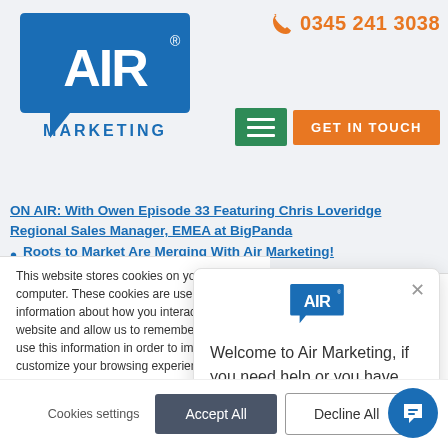[Figure (logo): AIR Marketing logo - white AIR text in blue speech bubble shape with MARKETING text below]
0345 241 3038
[Figure (screenshot): Green hamburger menu button and orange GET IN TOUCH button]
ON AIR: With Owen Episode 33 Featuring Chris Loveridge Regional Sales Manager, EMEA at BigPanda
Roots to Market Are Merging With Air Marketing!
This website stores cookies on your computer. These cookies are used to collect information about how you interact with our website and allow us to remember you. We use this information in order to improve and customize your browsing experience and for analytics and metrics about our visitors both on this website and other media. To find out more about the cookies we use, see our Privacy Policy.
If you decline, your information won't be tracked when you visit this website. A single cookie will be used in your browser to remember your preference not to be tracked.
[Figure (screenshot): Chat widget popup showing AIR Marketing logo and message: Welcome to Air Marketing, if you need help or you have any questions simply reply to this message, we are online and here to help.]
Welcome to Air Marketing, if you need help or you have any questions simply reply to this message, we are online and here to help.
Cookies settings
Accept All
Decline All